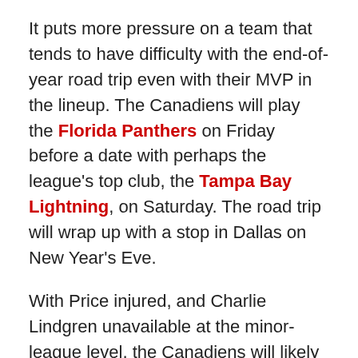It puts more pressure on a team that tends to have difficulty with the end-of-year road trip even with their MVP in the lineup. The Canadiens will play the Florida Panthers on Friday before a date with perhaps the league's top club, the Tampa Bay Lightning, on Saturday. The road trip will wrap up with a stop in Dallas on New Year's Eve.
With Price injured, and Charlie Lindgren unavailable at the minor-league level, the Canadiens will likely be calling upon Michael McNiven for his first taste of life at the NHL level. He has been doing well taking over starting duties for the Laval Rocket. Antti Niemi will be expected to start Friday's game, and likely Saturday's as well.